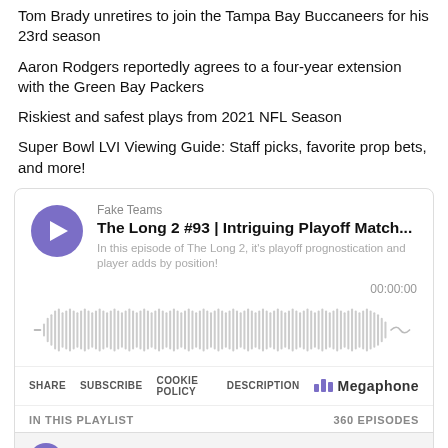Tom Brady unretires to join the Tampa Bay Buccaneers for his 23rd season
Aaron Rodgers reportedly agrees to a four-year extension with the Green Bay Packers
Riskiest and safest plays from 2021 NFL Season
Super Bowl LVI Viewing Guide: Staff picks, favorite prop bets, and more!
[Figure (screenshot): Podcast player widget for 'Fake Teams' episode 'The Long 2 #93 | Intriguing Playoff Match...' with waveform visualization, playback controls, share/subscribe bar, playlist info showing 360 episodes, and a bottom episode row.]